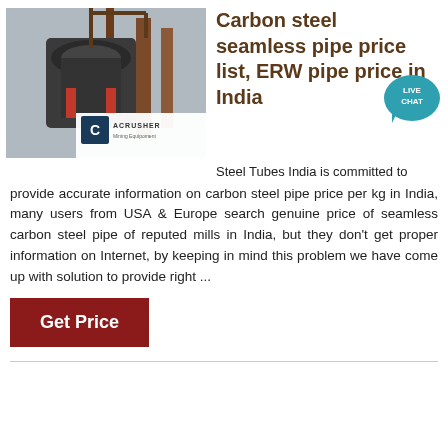[Figure (photo): Industrial mining/crushing equipment photo with an ACRUSHER Mining Equipment watermark overlay in the lower right corner.]
Carbon steel seamless pipe price list, ERW pipe price in India
Steel Tubes India is committed to provide accurate information on carbon steel pipe price per kg in India, many users from USA & Europe search genuine price of seamless carbon steel pipe of reputed mills in India, but they don't get proper information on Internet, by keeping in mind this problem we have come up with solution to provide right ...
Get Price